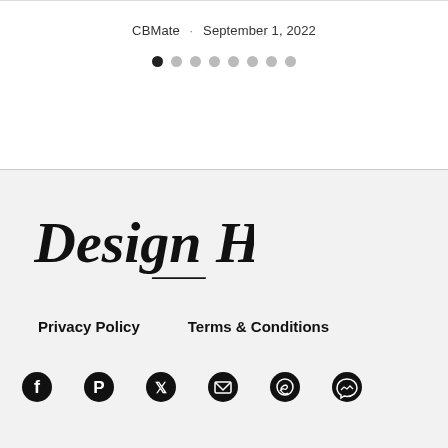CBMate · September 1, 2022
[Figure (other): Pagination dots: 8 dots, first one filled/active, rest grey]
[Figure (logo): Design Hunt logo in brush script italic font]
Privacy Policy   Terms & Conditions
[Figure (other): Social media icons: Facebook, Pinterest, Twitter/X, Email, WhatsApp, Messenger]